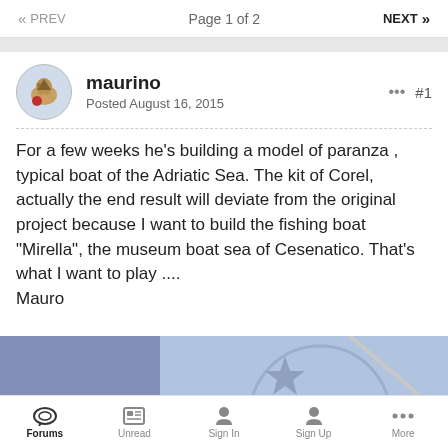« PREV   Page 1 of 2   NEXT »
maurino
Posted August 16, 2015
For a few weeks he's building a model of paranza , typical boat of the Adriatic Sea. The kit of Corel, actually the end result will deviate from the original project because I want to build the fishing boat "Mirella", the museum boat sea of Cesenatico. That's what I want to play ....
Mauro
[Figure (photo): Partial view of a boat image with blue background and a star shape visible]
Forums   Unread   Sign In   Sign Up   More